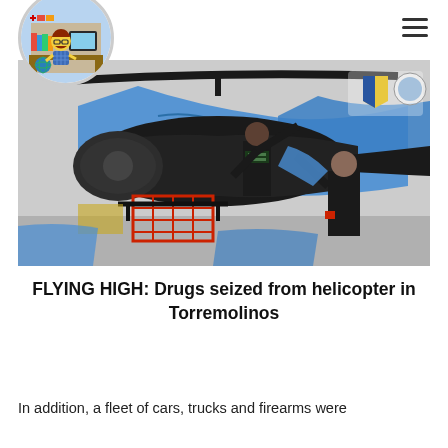[Figure (photo): Photo of two officers in dark uniforms pulling a blue tarpaulin off a helicopter in what appears to be a warehouse or hangar. The helicopter is black with a red cargo basket. One officer wears a vest reading 'GUARDIA CIVIL'. Logos visible in the top right corner.]
FLYING HIGH: Drugs seized from helicopter in Torremolinos
In addition, a fleet of cars, trucks and firearms were